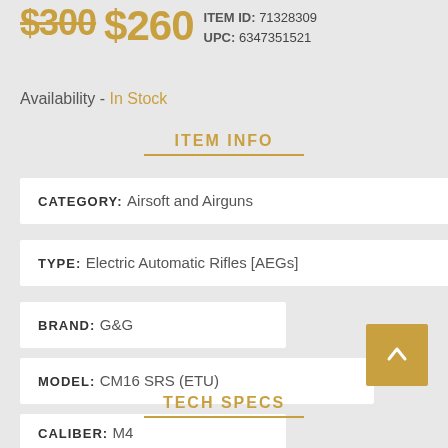$300 $260 ITEM ID: 71328309 UPC: 6347351521
Availability - In Stock
ITEM INFO
| Field | Value |
| --- | --- |
| CATEGORY: | Airsoft and Airguns |
| TYPE: | Electric Automatic Rifles [AEGs] |
| BRAND: | G&G |
| MODEL: | CM16 SRS (ETU) |
| CALIBER: | M4 |
TECH SPECS